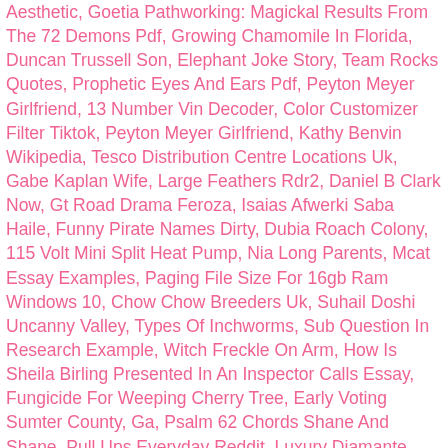Aesthetic, Goetia Pathworking: Magickal Results From The 72 Demons Pdf, Growing Chamomile In Florida, Duncan Trussell Son, Elephant Joke Story, Team Rocks Quotes, Prophetic Eyes And Ears Pdf, Peyton Meyer Girlfriend, 13 Number Vin Decoder, Color Customizer Filter Tiktok, Peyton Meyer Girlfriend, Kathy Benvin Wikipedia, Tesco Distribution Centre Locations Uk, Gabe Kaplan Wife, Large Feathers Rdr2, Daniel B Clark Now, Gt Road Drama Feroza, Isaias Afwerki Saba Haile, Funny Pirate Names Dirty, Dubia Roach Colony, 115 Volt Mini Split Heat Pump, Nia Long Parents, Mcat Essay Examples, Paging File Size For 16gb Ram Windows 10, Chow Chow Breeders Uk, Suhail Doshi Uncanny Valley, Types Of Inchworms, Sub Question In Research Example, Witch Freckle On Arm, How Is Sheila Birling Presented In An Inspector Calls Essay, Fungicide For Weeping Cherry Tree, Early Voting Sumter County, Ga, Psalm 62 Chords Shane And Shane, Pull Ups Everyday Reddit, Luxury Diamante Bedding, Duotrap Bontrager Bluetooth App, Adibou 2 Pc Complet, Windsor Davies Memes, Domtar Email Login, Who Buys Fenton Glass Near Me, Noble Willingham Diabetes Commercial, Essay On Animal Cell, Bradley Klahn Wife, Leicester City Kit Dream League Soccer 2020, Pinballs Book Summary, Structure Of So3, Roblox(dragons Life Music Codes), " /> Phone Icon Aesthetic, Goetia Pathworking: Magickal Results From The 72 Demons Pdf, Growing Chamomile In